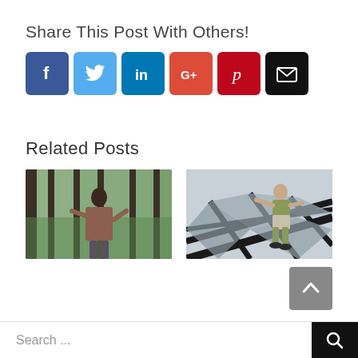Share This Post With Others!
[Figure (infographic): Six social media share buttons: Facebook (blue), Twitter (light blue), LinkedIn (teal), Google+ (orange-red), Pinterest (dark red), Email (black)]
Related Posts
[Figure (photo): Woman opening large glass sliding doors to a patio/outdoor area]
[Figure (photo): Person climbing on a glass or metal roof structure viewed from behind]
[Figure (other): Gray scroll-to-top button with upward chevron arrow]
Search ...